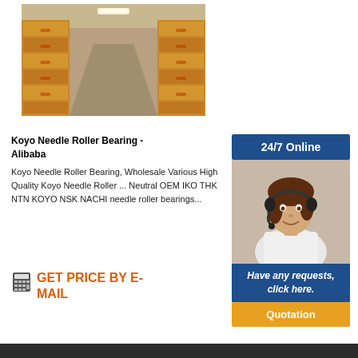[Figure (photo): Warehouse aisle with stacked brown NSK-branded boxes on shelving, industrial storage setting.]
Koyo Needle Roller Bearing - Alibaba
Koyo Needle Roller Bearing, Wholesale Various High Quality Koyo Needle Roller ... Neutral OEM IKO THK NTN KOYO NSK NACHI needle roller bearings...
GET PRICE BY E-MAIL
[Figure (infographic): 24/7 Online customer support banner with a female agent wearing a headset, followed by 'Have any requests, click here.' text and a Quotation button.]